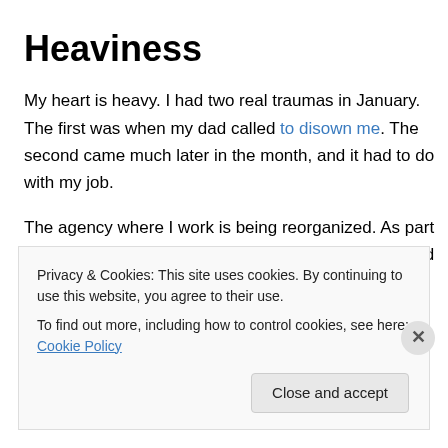Heaviness
My heart is heavy. I had two real traumas in January. The first was when my dad called to disown me. The second came much later in the month, and it had to do with my job.
The agency where I work is being reorganized. As part of that reorganization, my job is being reclassified, and the little office I run is being made part of a new office. The result is that my salary is being slashed by a lot. The
Privacy & Cookies: This site uses cookies. By continuing to use this website, you agree to their use.
To find out more, including how to control cookies, see here: Cookie Policy
Close and accept